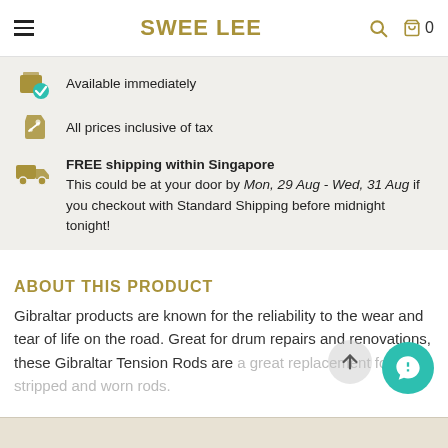SWEE LEE
Available immediately
All prices inclusive of tax
FREE shipping within Singapore
This could be at your door by Mon, 29 Aug - Wed, 31 Aug if you checkout with Standard Shipping before midnight tonight!
ABOUT THIS PRODUCT
Gibraltar products are known for the reliability to the wear and tear of life on the road. Great for drum repairs and renovations, these Gibraltar Tension Rods are a great replacement for stripped and worn rods.